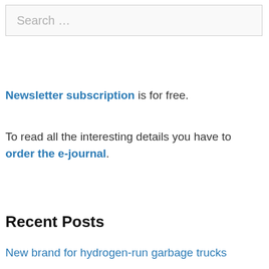[Figure (screenshot): Search input box with placeholder text 'Search …']
Newsletter subscription is for free.
To read all the interesting details you have to order the e-journal.
Recent Posts
New brand for hydrogen-run garbage trucks